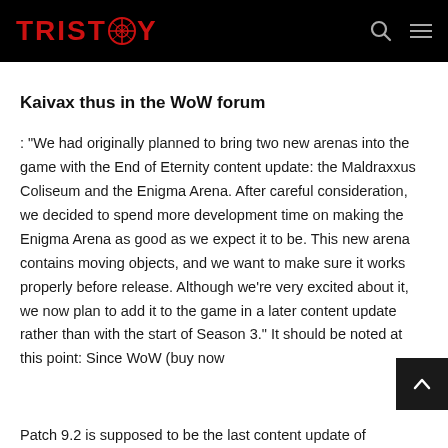TRISTOY
Kaivax thus in the WoW forum
: "We had originally planned to bring two new arenas into the game with the End of Eternity content update: the Maldraxxus Coliseum and the Enigma Arena. After careful consideration, we decided to spend more development time on making the Enigma Arena as good as we expect it to be. This new arena contains moving objects, and we want to make sure it works properly before release. Although we're very excited about it, we now plan to add it to the game in a later content update rather than with the start of Season 3." It should be noted at this point: Since WoW (buy now
Patch 9.2 is supposed to be the last content update of